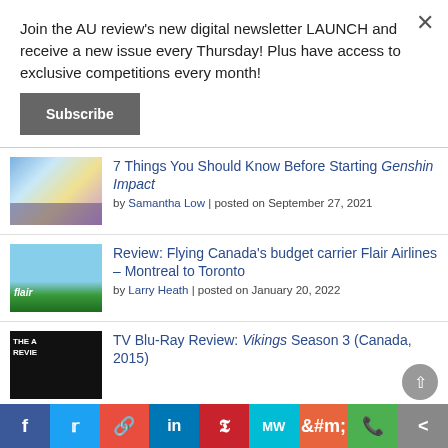Join the AU review's new digital newsletter LAUNCH and receive a new issue every Thursday! Plus have access to exclusive competitions every month!
Subscribe
7 Things You Should Know Before Starting Genshin Impact
by Samantha Low | posted on September 27, 2021
Review: Flying Canada's budget carrier Flair Airlines – Montreal to Toronto
by Larry Heath | posted on January 20, 2022
TV Blu-Ray Review: Vikings Season 3 (Canada, 2015)